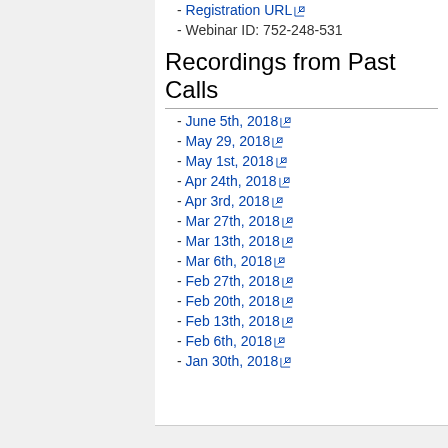- Registration URL
- Webinar ID: 752-248-531
Recordings from Past Calls
- June 5th, 2018
- May 29, 2018
- May 1st, 2018
- Apr 24th, 2018
- Apr 3rd, 2018
- Mar 27th, 2018
- Mar 13th, 2018
- Mar 6th, 2018
- Feb 27th, 2018
- Feb 20th, 2018
- Feb 13th, 2018
- Feb 6th, 2018
- Jan 30th, 2018